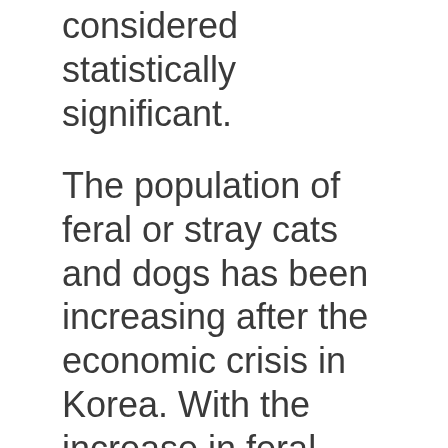considered statistically significant.
The population of feral or stray cats and dogs has been increasing after the economic crisis in Korea. With the increase in feral cats, civil petitions regarding noise and other nuisance complaints to the Public Service Centers of the country's regional governments have also been